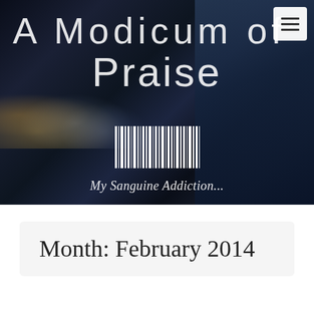[Figure (photo): Dark city night skyline banner with architectural corridor on right side, serving as website hero image with blog title overlay]
A Modicum of² Praise
My Sanguine Addiction...
Month: February 2014